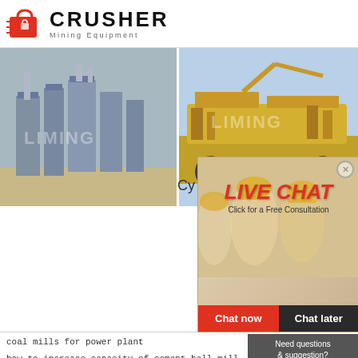[Figure (logo): Crusher Mining Equipment logo with red shopping bag icon]
[Figure (photo): Industrial equipment - gray machinery/building exterior with LIMING watermark]
[Figure (photo): Yellow mining equipment on truck with LIMING watermark]
24Hrs Online
Cy
[Figure (screenshot): Live Chat popup banner with workers in hard hats, LIVE CHAT title, Click for a Free Consultation subtitle, Chat now and Chat later buttons]
[Figure (photo): Customer service representative with headset on right side of chat banner]
coal mills for power plant
how to increase capacity of cement ball mill
mantra table top wet grinder price
jaw crushers for in ont
steel mill slag belt feeder
Need questions & suggestion?
Chat Now
Enquiry
limingjlmofen@sina.com